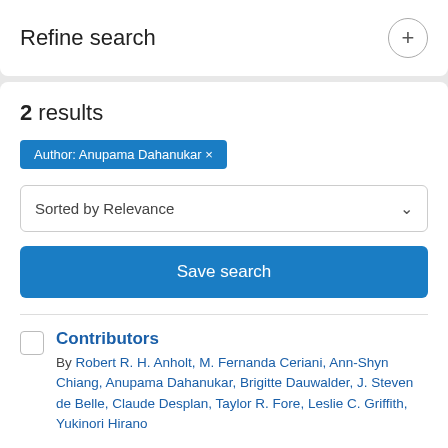Refine search
2 results
Author: Anupama Dahanukar ×
Sorted by Relevance
Save search
Contributors
By Robert R. H. Anholt, M. Fernanda Ceriani, Ann-Shyn Chiang, Anupama Dahanukar, Brigitte Dauwalder, J. Steven de Belle, Claude Desplan, Taylor R. Fore, Leslie C. Griffith, Yukinori Hirano